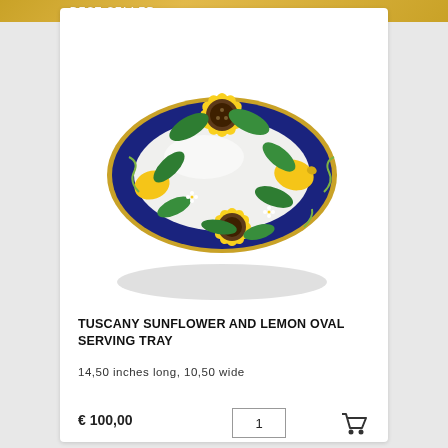BEST SELLER
[Figure (photo): Tuscany Sunflower and Lemon oval ceramic serving tray with blue border, featuring hand-painted sunflowers and lemons]
TUSCANY SUNFLOWER AND LEMON OVAL SERVING TRAY
14,50 inches long, 10,50 wide
€ 100,00
1